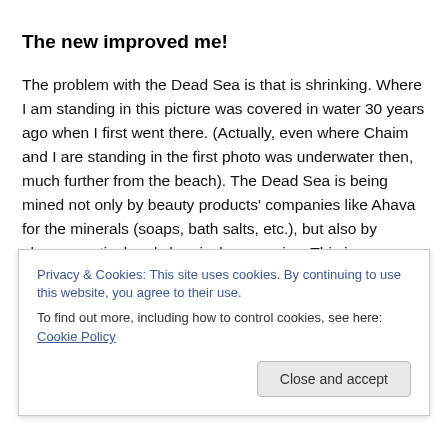The new improved me!
The problem with the Dead Sea is that is shrinking. Where I am standing in this picture was covered in water 30 years ago when I first went there. (Actually, even where Chaim and I are standing in the first photo was underwater then, much further from the beach). The Dead Sea is being mined not only by beauty products' companies like Ahava for the minerals (soaps, bath salts, etc.), but also by pharmaceutical and chemical companies. This is an
Privacy & Cookies: This site uses cookies. By continuing to use this website, you agree to their use.
To find out more, including how to control cookies, see here: Cookie Policy